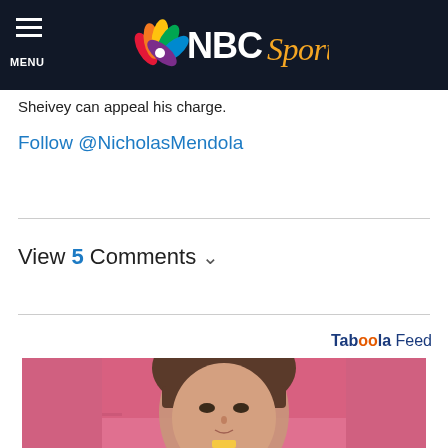NBC Sports – MENU
Sheivey can appeal his charge.
Follow @NicholasMendola
View 5 Comments
Taboola Feed
[Figure (photo): Young woman with dark hair and bangs, smiling slightly against a pink background, holding something yellow at chin level.]